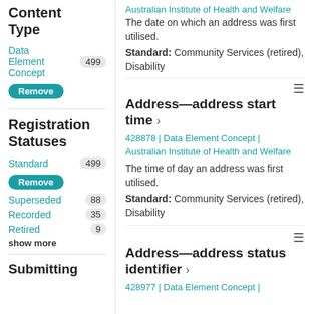Australian Institute of Health and Welfare
The date on which an address was first utilised.
Standard: Community Services (retired), Disability
Content Type
Data Element Concept 499
Remove
Registration Statuses
Standard 499
Remove
Superseded 88
Recorded 35
Retired 9
show more
Submitting
Address—address start time
428878 | Data Element Concept | Australian Institute of Health and Welfare
The time of day an address was first utilised.
Standard: Community Services (retired), Disability
Address—address status identifier
428977 | Data Element Concept |